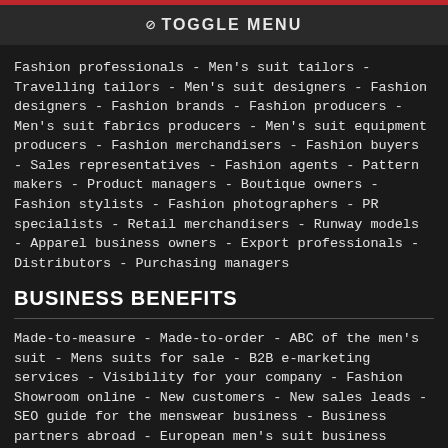⊘ TOGGLE MENU
Fashion professionals - Men's suit tailors - Travelling tailors - Men's suit designers - Fashion designers - Fashion brands - Fashion producers - Men's suit fabrics producers - Men's suit equipment producers - Fashion merchandisers - Fashion buyers - Sales representatives - Fashion agents - Pattern makers - Product managers - Boutique owners - Fashion stylists - Fashion photographers - PR specialists - Retail merchandisers - Runway models - Apparel business owners - Export professionals - Distributors - Purchasing managers
BUSINESS BENEFITS
Made-to-measure - Made-to-order - ABC of the men's suit - Mens suits for sale - B2B e-marketing services - Visibility for your company - Fashion Showroom online - New customers - New sales leads - SEO guide for the menswear business - Business partners abroad - European men's suit business network - Online Marketing solutions - Business opportunities - Free business contacts - Custom men's suits business - Bespoke suits